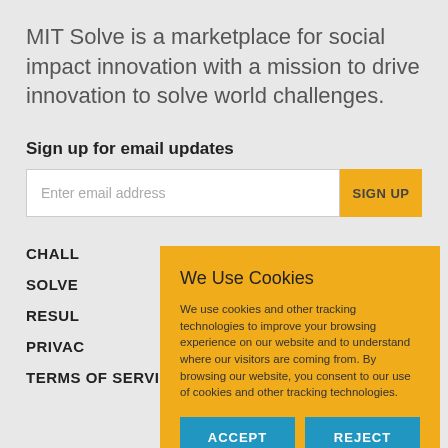MIT Solve is a marketplace for social impact innovation with a mission to drive innovation to solve world challenges.
Sign up for email updates
Enter email address
CHALLENGES
SOLVERS
RESULTS
PRIVACY
TERMS OF SERVICE
[Figure (screenshot): Cookie consent dialog with yellow background. Title: 'We Use Cookies'. Body text explains use of cookies and tracking technologies. Two blue buttons: ACCEPT and REJECT.]